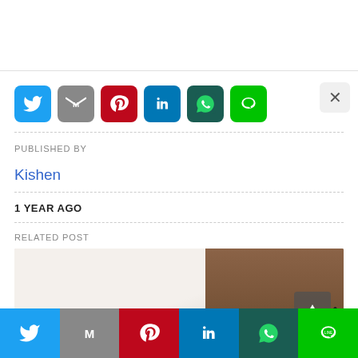[Figure (screenshot): Social media share icons: Twitter (blue), Gmail (gray), Pinterest (red), LinkedIn (blue), WhatsApp (dark teal), LINE (green), with an X close button on the right]
PUBLISHED BY
Kishen
1 YEAR AGO
RELATED POST
[Figure (photo): Photo of an open notebook on a wooden desk with a pen]
[Figure (screenshot): Bottom share bar with Twitter, Gmail, Pinterest, LinkedIn, WhatsApp, and LINE icons]